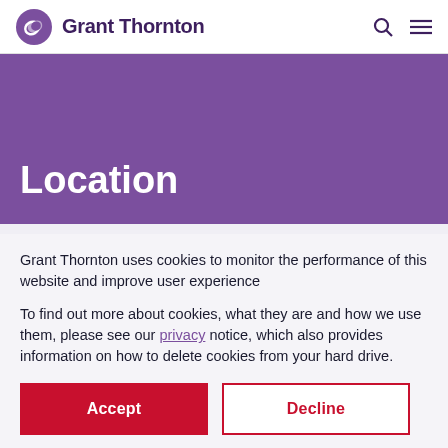Grant Thornton
Location
Grant Thornton uses cookies to monitor the performance of this website and improve user experience
To find out more about cookies, what they are and how we use them, please see our privacy notice, which also provides information on how to delete cookies from your hard drive.
Accept
Decline